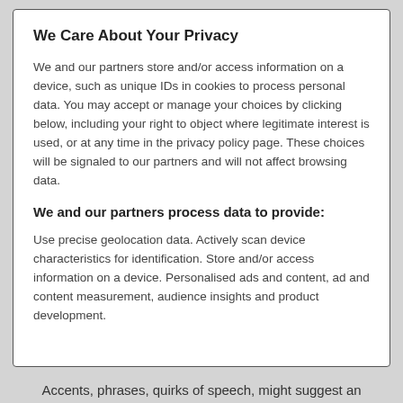We Care About Your Privacy
We and our partners store and/or access information on a device, such as unique IDs in cookies to process personal data. You may accept or manage your choices by clicking below, including your right to object where legitimate interest is used, or at any time in the privacy policy page. These choices will be signaled to our partners and will not affect browsing data.
We and our partners process data to provide:
Use precise geolocation data. Actively scan device characteristics for identification. Store and/or access information on a device. Personalised ads and content, ad and content measurement, audience insights and product development.
Accents, phrases, quirks of speech, might suggest an